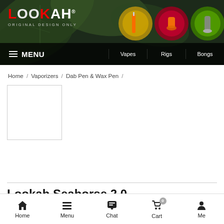[Figure (screenshot): Lookah brand website header with logo, green leaf background, and navigation icons for Vapes, Rigs, Bongs]
Home / Vaporizers / Dab Pen & Wax Pen /
[Figure (photo): Empty white product image placeholder box]
Lookah Seahorse 2.0
Lookah Seahorse 2.0 Wax Pen
Home   Menu   Chat   Cart 0   Me